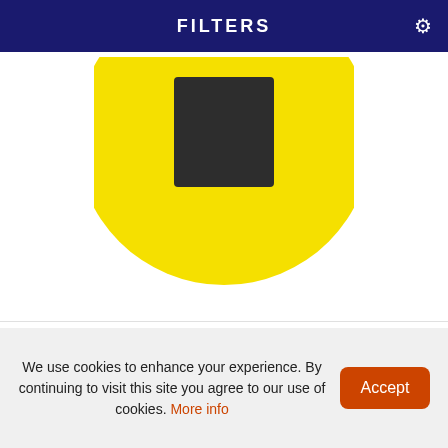FILTERS
[Figure (illustration): Product image showing a yellow circle with a dark square/arrow shape in the center, partially cropped at the top]
Direction Arrow - Anti Slip Floor Graphic
£6.23 EX VAT
MORE INFO
QUICK VIEW
We use cookies to enhance your experience. By continuing to visit this site you agree to our use of cookies. More info
Accept